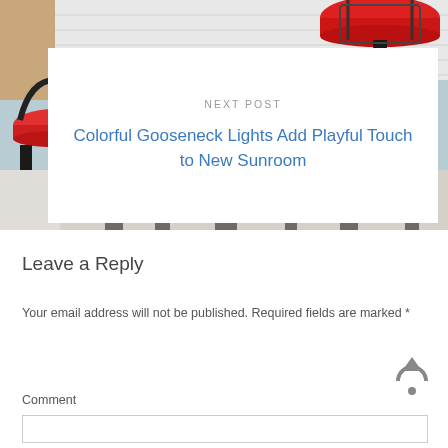[Figure (photo): Photo of a sunroom or porch area with a red gooseneck lamp on the left side, white shiplap ceiling, black metal lamp post on the right, and striped window blinds/curtains in lower portion. A white card overlay in the center shows a blog post navigation element.]
NEXT POST
Colorful Gooseneck Lights Add Playful Touch to New Sunroom
Leave a Reply
Your email address will not be published. Required fields are marked *
Comment